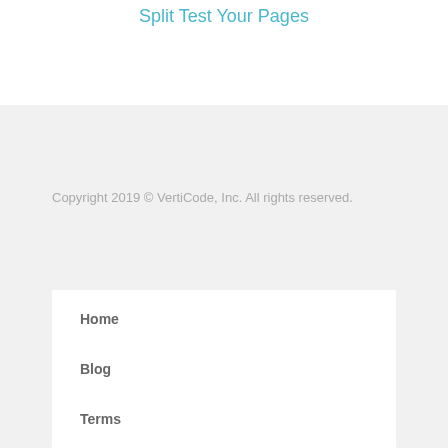Split Test Your Pages
Copyright 2019 © VertiCode, Inc. All rights reserved.
Home
Blog
Terms
Privacy